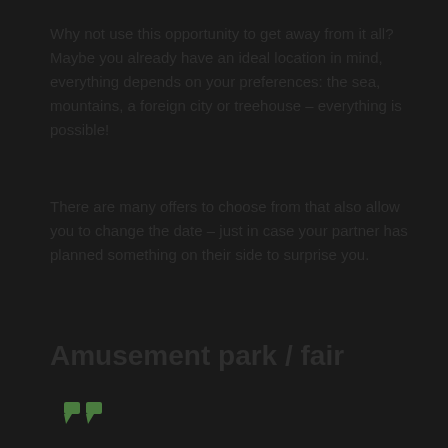Why not use this opportunity to get away from it all? Maybe you already have an ideal location in mind, everything depends on your preferences: the sea, mountains, a foreign city or treehouse – everything is possible!
There are many offers to choose from that also allow you to change the date – just in case your partner has planned something on their side to surprise you.
Amusement park / fair
[Figure (illustration): Small green quotation mark icon]